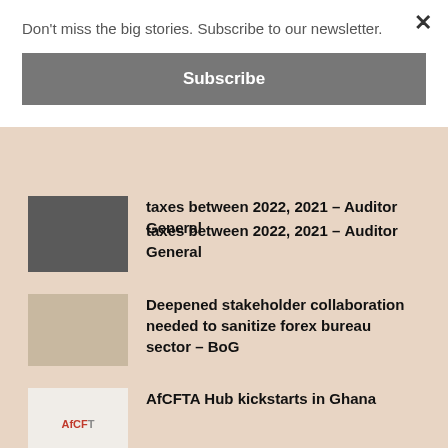Don't miss the big stories. Subscribe to our newsletter.
Subscribe
taxes between 2022, 2021 – Auditor General
Deepened stakeholder collaboration needed to sanitize forex bureau sector – BoG
AfCFTA Hub kickstarts in Ghana
Vlisco MD calls for unity among fashion industry players to weather economic storm